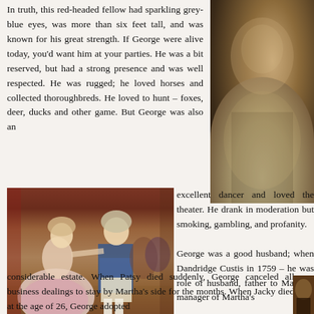In truth, this red-headed fellow had sparkling grey-blue eyes, was more than six feet tall, and was known for his great strength. If George were alive today, you'd want him at your parties. He was a bit reserved, but had a strong presence and was well respected. He was rugged; he loved horses and collected thoroughbreds. He loved to hunt – foxes, deer, ducks and other game. But George was also an excellent dancer and loved the theater. He drank in moderation but smoking, gambling, and profanity.
[Figure (photo): Portrait painting of a historical figure (likely George Washington) in dark tones with white wig]
[Figure (photo): Historical painting of George Washington dancing with a woman in a pink dress at a formal event]
George was a good husband; when Dandridge Custis in 1759 – he was role of husband, father to Martha's manager of Martha's considerable estate. When Patsy died suddenly, George canceled all business dealings to stay by Martha's side for the months. When Jacky died at the age of 26, George adopted
[Figure (photo): Partial view of another portrait on the bottom right]